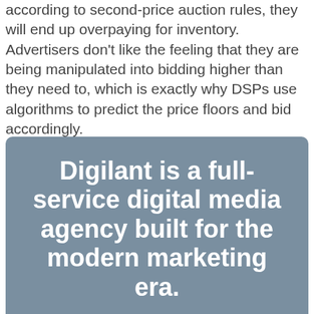according to second-price auction rules, they will end up overpaying for inventory. Advertisers don't like the feeling that they are being manipulated into bidding higher than they need to, which is exactly why DSPs use algorithms to predict the price floors and bid accordingly.
Digilant is a full-service digital media agency built for the modern marketing era.
Learn More